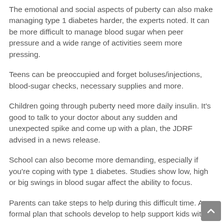The emotional and social aspects of puberty can also make managing type 1 diabetes harder, the experts noted. It can be more difficult to manage blood sugar when peer pressure and a wide range of activities seem more pressing.
Teens can be preoccupied and forget boluses/injections, blood-sugar checks, necessary supplies and more.
Children going through puberty need more daily insulin. It's good to talk to your doctor about any sudden and unexpected spike and come up with a plan, the JDRF advised in a news release.
School can also become more demanding, especially if you're coping with type 1 diabetes. Studies show low, high or big swings in blood sugar affect the ability to focus.
Parents can take steps to help during this difficult time. A formal plan that schools develop to help support kids with